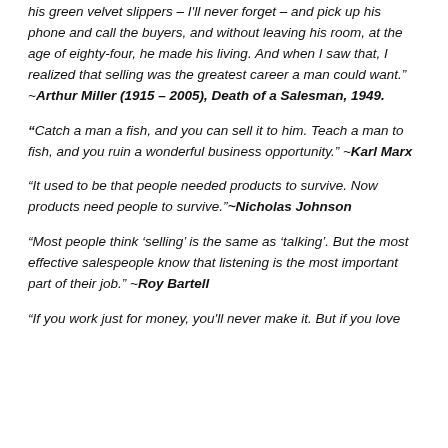his green velvet slippers – I'll never forget – and pick up his phone and call the buyers, and without leaving his room, at the age of eighty-four, he made his living. And when I saw that, I realized that selling was the greatest career a man could want." ~Arthur Miller (1915 – 2005), Death of a Salesman, 1949.
“Catch a man a fish, and you can sell it to him. Teach a man to fish, and you ruin a wonderful business opportunity.” ~Karl Marx
“It used to be that people needed products to survive. Now products need people to survive.”~Nicholas Johnson
“Most people think ‘selling’ is the same as ‘talking’. But the most effective salespeople know that listening is the most important part of their job.” ~Roy Bartell
“If you work just for money, you’ll never make it. But if you love what you’re doing and you always put the customer first, success will be yours.”